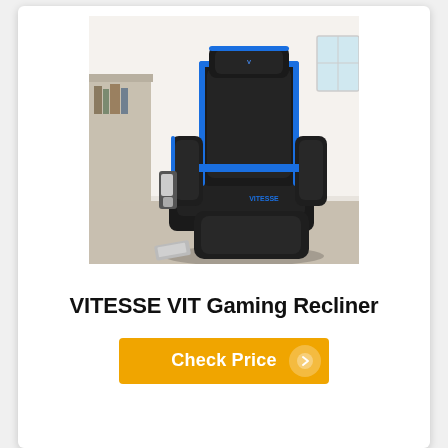[Figure (photo): A black gaming recliner chair with blue accent trim and piping. The chair has a tall backrest, padded armrests, an extended footrest, and a side pocket holding items. It is set against a light room background with a soccer ball visible on the left. The brand name VITESSE is visible on the chair.]
VITESSE VIT Gaming Recliner
Check Price